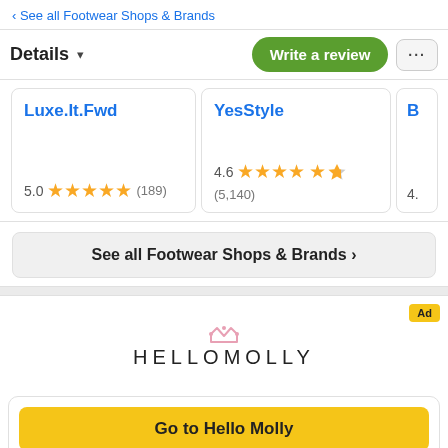‹ See all Footwear Shops & Brands
Details ▾
Write a review
...
Luxe.It.Fwd
5.0 ★★★★★ (189)
YesStyle
4.6 ★★★★½ (5,140)
B
4.
See all Footwear Shops & Brands ›
Ad
[Figure (logo): Hello Molly logo with crown icon above text HELLOMOLLY]
Go to Hello Molly
Hello Molly